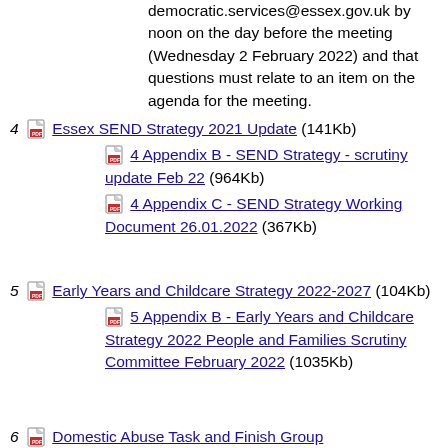democratic.services@essex.gov.uk by noon on the day before the meeting (Wednesday 2 February 2022) and that questions must relate to an item on the agenda for the meeting.
4 Essex SEND Strategy 2021 Update (141Kb)
4 Appendix B - SEND Strategy - scrutiny update Feb 22 (964Kb)
4 Appendix C - SEND Strategy Working Document 26.01.2022 (367Kb)
5 Early Years and Childcare Strategy 2022-2027 (104Kb)
5 Appendix B - Early Years and Childcare Strategy 2022 People and Families Scrutiny Committee February 2022 (1035Kb)
6 Domestic Abuse Task and Finish Group